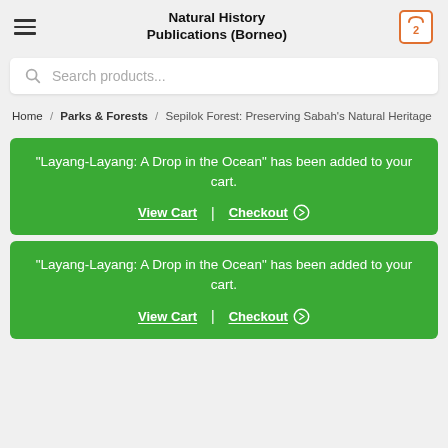Natural History Publications (Borneo)
Search products...
Home / Parks & Forests / Sepilok Forest: Preserving Sabah's Natural Heritage
"Layang-Layang: A Drop in the Ocean" has been added to your cart. View Cart | Checkout
"Layang-Layang: A Drop in the Ocean" has been added to your cart. View Cart | Checkout